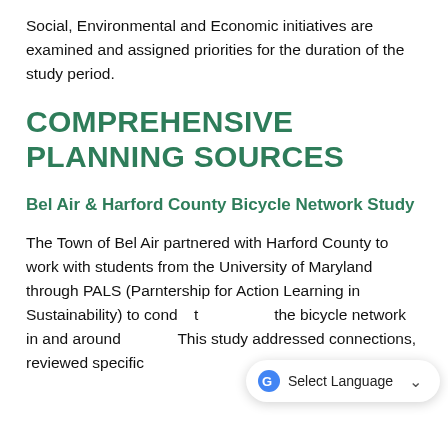Social, Environmental and Economic initiatives are examined and assigned priorities for the duration of the study period.
COMPREHENSIVE PLANNING SOURCES
Bel Air & Harford County Bicycle Network Study
The Town of Bel Air partnered with Harford County to work with students from the University of Maryland through PALS (Parntership for Action Learning in Sustainability) to cond... the bicycle network in and around Bel Air. This study addressed connections, reviewed specific